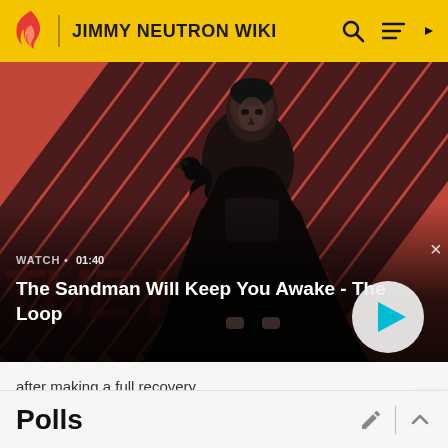JIMMY NEUTRON WIKI
[Figure (screenshot): Video thumbnail showing a dark-cloaked figure with a raven on their shoulder against a red and dark diagonal striped background. Text overlay reads: WATCH • 01:40 / The Sandman Will Keep You Awake - The Loop. A play button is shown in the bottom right.]
after making a full recovery.
He and Sheen are the only characters who are Latin American.
Polls